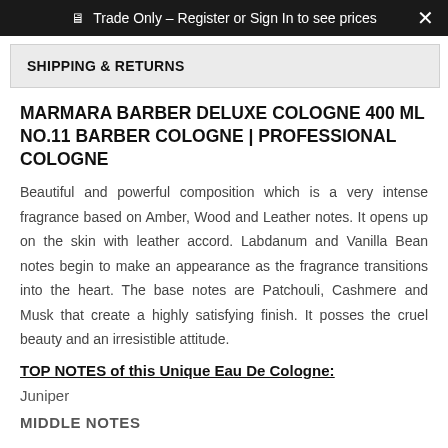🖥 Trade Only – Register or Sign In to see prices
SHIPPING & RETURNS
MARMARA BARBER DELUXE COLOGNE 400 ML NO.11 BARBER COLOGNE | PROFESSIONAL COLOGNE
Beautiful and powerful composition which is a very intense fragrance based on Amber, Wood and Leather notes. It opens up on the skin with leather accord. Labdanum and Vanilla Bean notes begin to make an appearance as the fragrance transitions into the heart. The base notes are Patchouli, Cashmere and Musk that create a highly satisfying finish. It posses the cruel beauty and an irresistible attitude.
TOP NOTES of this Unique Eau De Cologne:
Juniper
MIDDLE NOTES